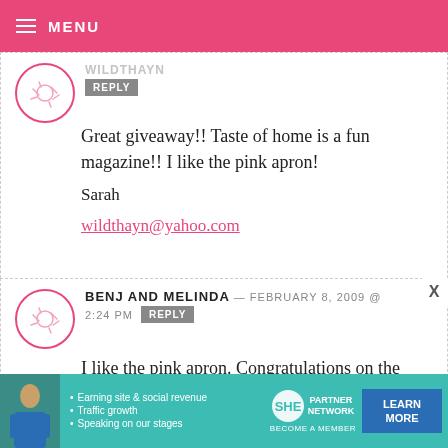MENU
Great giveaway!! Taste of home is a fun magazine!! I like the pink apron!

Sarah

wildthayn@yahoo.com
BENJ AND MELINDA — FEBRUARY 8, 2009 @ 2:24 PM REPLY

I like the pink apron. Congratulations on the magazine mention. You're so
[Figure (infographic): SHE Partner Network advertisement banner with photo of woman, bullet points about earning site & social revenue, traffic growth, speaking on stages, SHE logo, and LEARN MORE button.]